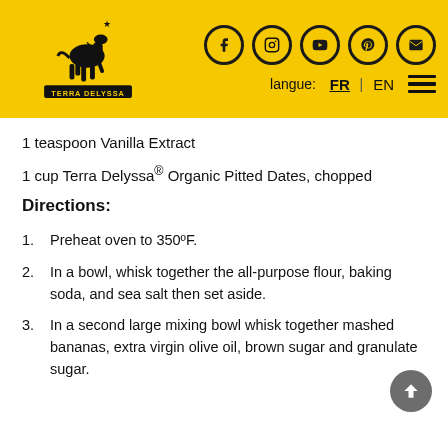[Figure (logo): Terra Delyssa logo — black silhouette of a horse/deer with wheat, text 'TERRA DELYSSA' in banner below, on yellow background header with social media icons (Facebook, Instagram, YouTube, Pinterest, Email) and language selector (FR | EN) and hamburger menu]
1 teaspoon Vanilla Extract
1 cup Terra Delyssa® Organic Pitted Dates, chopped
Directions:
1.  Preheat oven to 350ºF.
2.  In a bowl, whisk together the all-purpose flour, baking soda, and sea salt then set aside.
3.  In a second large mixing bowl whisk together mashed bananas, extra virgin olive oil, brown sugar and granulate sugar.